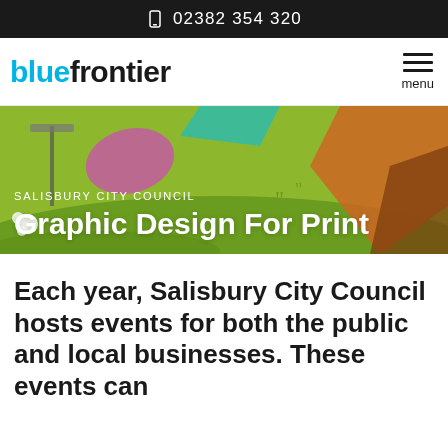02382 354 320
bluefrontier
[Figure (screenshot): Salisbury City Council Graphic Design For Print hero banner with illustrated park/garden scene background in green and orange tones]
SALISBURY CITY COUNCIL
Graphic Design For Print
Each year, Salisbury City Council hosts events for both the public and local businesses. These events can